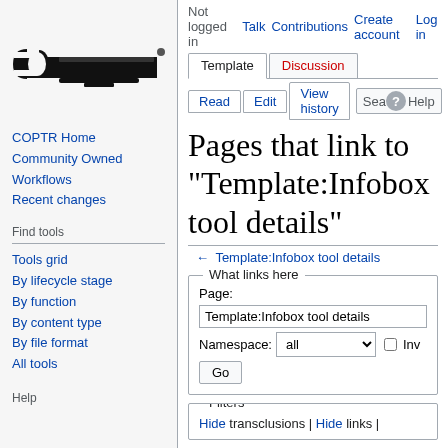[Figure (logo): COPTR wiki wrench logo — black wrench silhouette on gray background]
COPTR Home
Community Owned Workflows
Recent changes
Find tools
Tools grid
By lifecycle stage
By function
By content type
By file format
All tools
Help
Not logged in  Talk  Contributions  Create account  Log in
Pages that link to "Template:Infobox tool details"
← Template:Infobox tool details
What links here — Page: Template:Infobox tool details  Namespace: all  [Invert checkbox]  Go
Filters — Hide transclusions | Hide links |